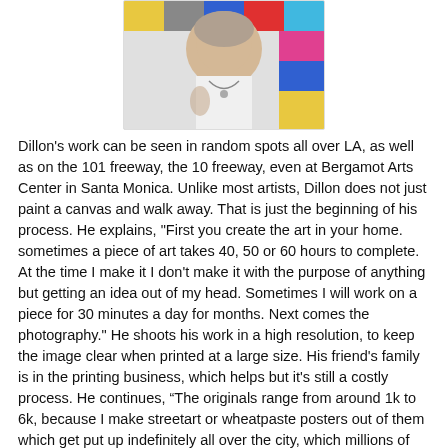[Figure (photo): Partial photo of a person wearing a white top with a necklace, posed in front of colorful geometric background artwork]
Dillon's work can be seen in random spots all over LA, as well as on the 101 freeway, the 10 freeway, even at Bergamot Arts Center in Santa Monica. Unlike most artists, Dillon does not just paint a canvas and walk away. That is just the beginning of his process. He explains, "First you create the art in your home. sometimes a piece of art takes 40, 50 or 60 hours to complete. At the time I make it I don't make it with the purpose of anything but getting an idea out of my head. Sometimes I will work on a piece for 30 minutes a day for months. Next comes the photography." He shoots his work in a high resolution, to keep the image clear when printed at a large size. His friend's family is in the printing business, which helps but it's still a costly process. He continues, “The originals range from around 1k to 6k, because I make streetart or wheatpaste posters out of them which get put up indefinitely all over the city, which millions of people see, it adds another element to a piece of art that only a handful of people see at an art show and then is locked up in a persons home forever.